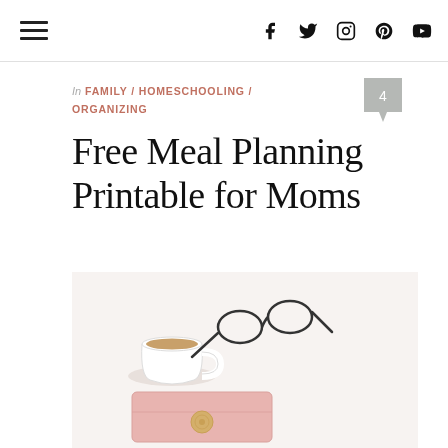☰  f  t  IG  P  ▶
In FAMILY / HOMESCHOOLING / ORGANIZING
Free Meal Planning Printable for Moms
[Figure (photo): Flat lay photo on white background showing a white coffee cup with coffee, a pair of black wire-rimmed glasses folded on the surface, and a pink wallet/clutch with a gold circular emblem.]